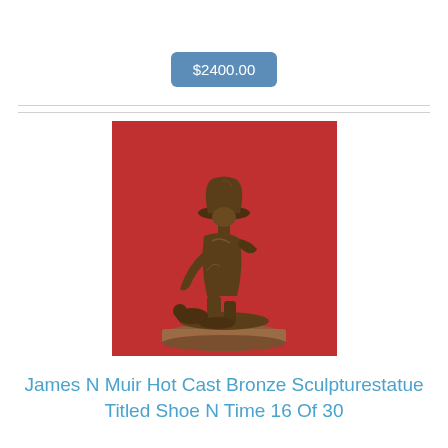$2400.00
[Figure (photo): Bronze sculpture of a cowboy figure on a wooden base, photographed against a red background. The piece is titled 'Shoe N Time' by James N Muir, numbered 16 of 30.]
James N Muir Hot Cast Bronze Sculpturestatue Titled Shoe N Time 16 Of 30